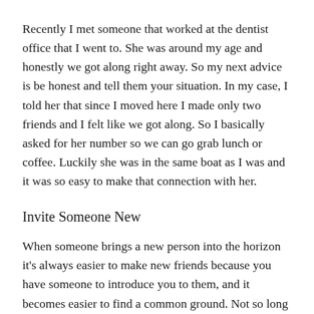Recently I met someone that worked at the dentist office that I went to. She was around my age and honestly we got along right away. So my next advice is be honest and tell them your situation. In my case, I told her that since I moved here I made only two friends and I felt like we got along. So I basically asked for her number so we can go grab lunch or coffee. Luckily she was in the same boat as I was and it was so easy to make that connection with her.
Invite Someone New
When someone brings a new person into the horizon it's always easier to make new friends because you have someone to introduce you to them, and it becomes easier to find a common ground. Not so long ago my friend invited me to go out to drinks with her and her friends and as much as it could be awkward at first be